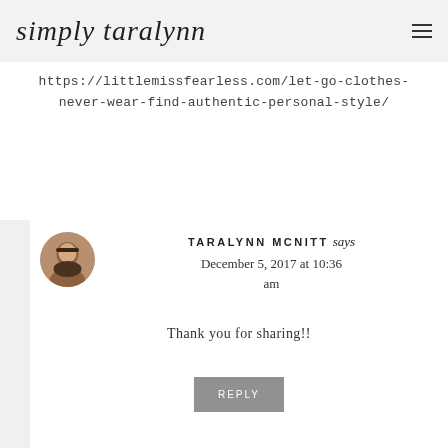simply taralynn
https://littlemissfearless.com/let-go-clothes-never-wear-find-authentic-personal-style/
REPLY
TARALYNN MCNITT says
December 5, 2017 at 10:36 am
Thank you for sharing!!
REPLY